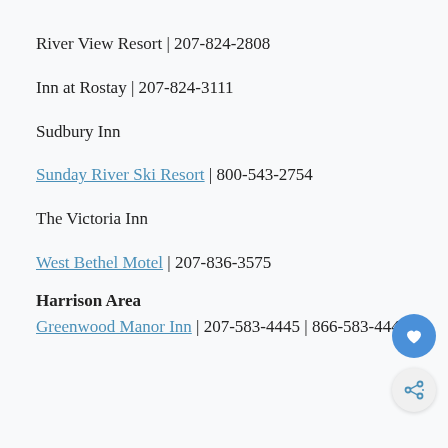River View Resort | 207-824-2808
Inn at Rostay | 207-824-3111
Sudbury Inn
Sunday River Ski Resort | 800-543-2754
The Victoria Inn
West Bethel Motel | 207-836-3575
Harrison Area
Greenwood Manor Inn | 207-583-4445 | 866-583-4445